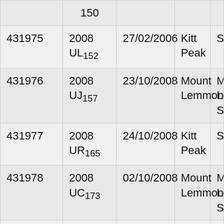| ID | Designation | Date | Observatory | Survey |
| --- | --- | --- | --- | --- |
|  | 150 (partial) |  |  |  |
| 431975 | 2008 UL₁₅₂ | 27/02/2006 | Kitt Peak | Sp… |
| 431976 | 2008 UJ₁₅₇ | 23/10/2008 | Mount Lemmon | M… Le… Su… |
| 431977 | 2008 UR₁₆₅ | 24/10/2008 | Kitt Peak | Sp… |
| 431978 | 2008 UC₁₇₃ | 02/10/2008 | Mount Lemmon | M… Le… Su… |
| 431979 | 2008 UB₁₇₄ | 23/09/2008 | Kitt Peak | Sp… |
| 431980 | 2008 UM₁₈₀ | 24/10/2008 | Kitt Peak | Sp… |
|  | 2008 |  | Kitt |  |